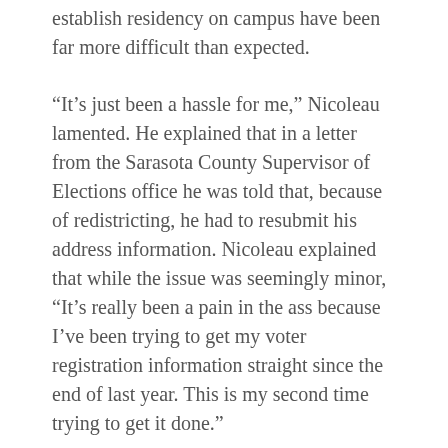establish residency on campus have been far more difficult than expected.
“It’s just been a hassle for me,” Nicoleau lamented. He explained that in a letter from the Sarasota County Supervisor of Elections office he was told that, because of redistricting, he had to resubmit his address information. Nicoleau explained that while the issue was seemingly minor, “It’s really been a pain in the ass because I’ve been trying to get my voter registration information straight since the end of last year. This is my second time trying to get it done.”
Nicoleau said that he had trepidations about whether his situation was a discrimination issue based on his self–identified race designation as “African American/Black.” He it also says that students are in the next to